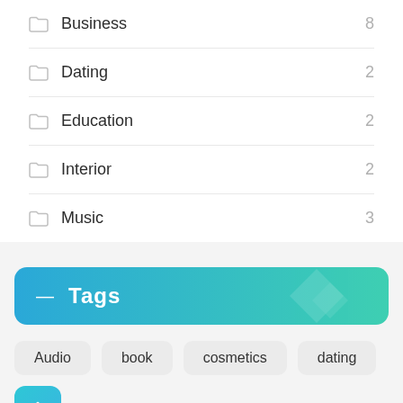Business 8
Dating 2
Education 2
Interior 2
Music 3
— Tags
Audio
book
cosmetics
dating
love
mp3
Skin
smart